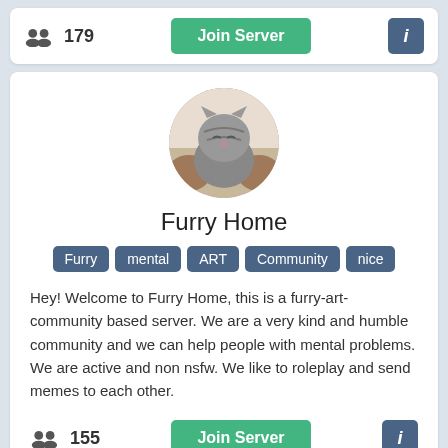179
[Figure (screenshot): Join Server button (green)]
[Figure (screenshot): Info button (dark blue with i)]
[Figure (photo): Circular server avatar showing a cat being held]
Furry Home
Furry
mental
ART
Community
nice
Hey! Welcome to Furry Home, this is a furry-art-community based server. We are a very kind and humble community and we can help people with mental problems. We are active and non nsfw. We like to roleplay and send memes to each other.
155
[Figure (screenshot): Join Server button (green)]
[Figure (screenshot): Info button (dark blue with i)]